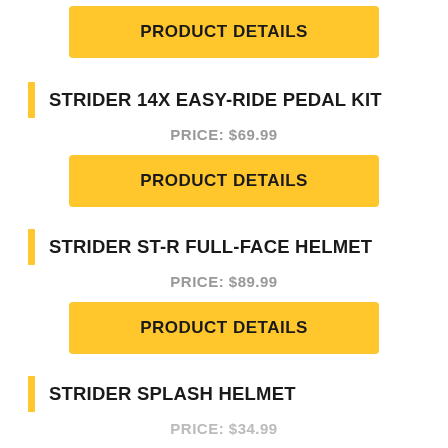PRODUCT DETAILS
STRIDER 14X EASY-RIDE PEDAL KIT
PRICE: $69.99
PRODUCT DETAILS
STRIDER ST-R FULL-FACE HELMET
PRICE: $89.99
PRODUCT DETAILS
STRIDER SPLASH HELMET
PRICE: $34.99